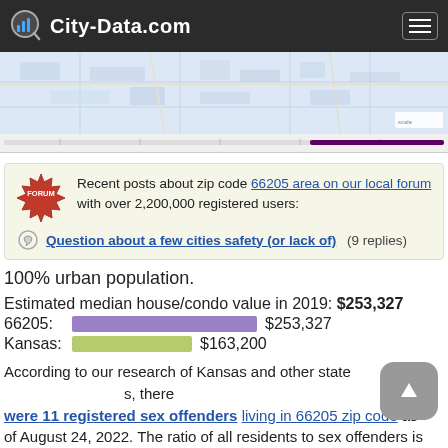City-Data.com
[Figure (map): Map screenshot of 66205 zip code area with slider bar at bottom]
Recent posts about zip code 66205 area on our local forum with over 2,200,000 registered users:
Question about a few cities safety (or lack of) (9 replies)
100% urban population.
Estimated median house/condo value in 2019: $253,327
66205: $253,327
Kansas: $163,200
According to our research of Kansas and other states, there were 11 registered sex offenders living in 66205 zip code as of August 24, 2022. The ratio of all residents to sex offenders is